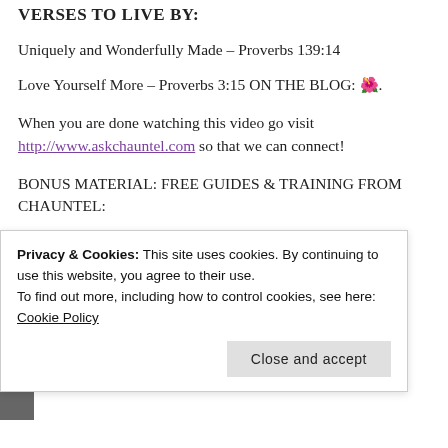VERSES TO LIVE BY:
Uniquely and Wonderfully Made – Proverbs 139:14
Love Yourself More – Proverbs 3:15 ON THE BLOG: 🌺.
When you are done watching this video go visit http://www.askchauntel.com so that we can connect!
BONUS MATERIAL: FREE GUIDES & TRAINING FROM CHAUNTEL:
🌺 Free Guide: 8 Steps to Make A Good Man Want You
Privacy & Cookies: This site uses cookies. By continuing to use this website, you agree to their use. To find out more, including how to control cookies, see here: Cookie Policy
Close and accept